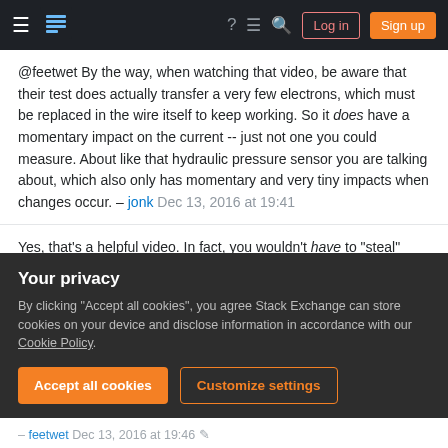Stack Exchange navigation bar with hamburger menu, logo, icons, Log in and Sign up buttons
@feetwet By the way, when watching that video, be aware that their test does actually transfer a very few electrons, which must be replaced in the wire itself to keep working. So it does have a momentary impact on the current -- just not one you could measure. About like that hydraulic pressure sensor you are talking about, which also only has momentary and very tiny impacts when changes occur. – jonk Dec 13, 2016 at 19:41
Yes, that's a helpful video. In fact, you wouldn't have to "steal" charge from the capacitor if you precharged the foil from another source. Suffice it to note that kV differences are sufficient to see static, mechanical
Your privacy
By clicking "Accept all cookies", you agree Stack Exchange can store cookies on your device and disclose information in accordance with our Cookie Policy.
– feetwet Dec 13, 2016 at 19:46